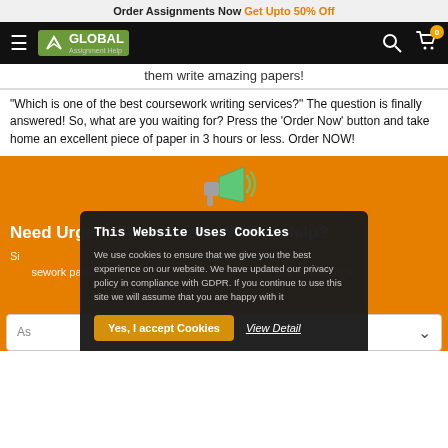Order Assignments Now Get Upto 50% Off
[Figure (logo): Global Assignment Help logo with hamburger menu, search icon, and cart icon with badge '0']
them write amazing papers!
"Which is one of the best coursework writing services?" The question is finally answered! So, what are you waiting for? Press the 'Order Now' button and take home an excellent piece of paper in 3 hours or less. Order NOW!
[Figure (illustration): Green megaphone/announcement icon]
Need Urgent Coursework Writing Help?
Si... helpers are here f... ework paper in le... et a chance to a... es assistance in
This Website Uses Cookies
We use cookies to ensure that we give you the best experience on our website. We have updated our privacy policy in compliance with GDPR. If you continue to use this site we will assume that you are happy with it
Yes, I accept Cookies
View Detail
As...er